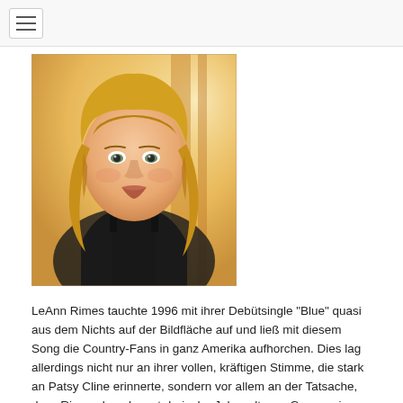[navigation menu toggle]
[Figure (photo): Portrait photo of LeAnn Rimes, a blonde woman with bangs wearing a black top, posed against a warm golden background.]
LeAnn Rimes tauchte 1996 mit ihrer Debütsingle "Blue" quasi aus dem Nichts auf der Bildfläche auf und ließ mit diesem Song die Country-Fans in ganz Amerika aufhorchen. Dies lag allerdings nicht nur an ihrer vollen, kräftigen Stimme, die stark an Patsy Cline erinnerte, sondern vor allem an der Tatsache, dass Rimes damals erst dreizehn Jahre alt war. Genau wie zuvor Tanya Tucker und